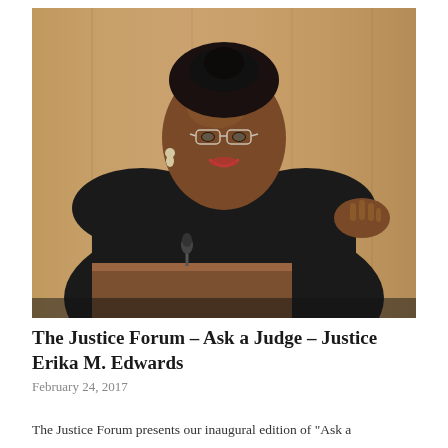[Figure (photo): A female judge in black judicial robes wearing glasses and a pearl necklace, smiling and gesturing with one hand raised, seated behind a courtroom bench with a microphone visible, wooden paneling in background.]
The Justice Forum – Ask a Judge – Justice Erika M. Edwards
February 24, 2017
The Justice Forum presents our inaugural edition of "Ask a